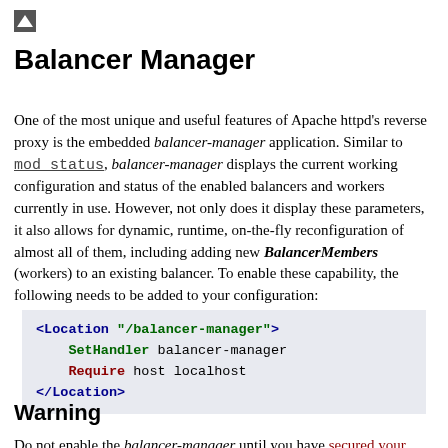[Figure (other): Small triangle/arrow icon (up arrow) in top-left corner]
Balancer Manager
One of the most unique and useful features of Apache httpd's reverse proxy is the embedded balancer-manager application. Similar to mod_status, balancer-manager displays the current working configuration and status of the enabled balancers and workers currently in use. However, not only does it display these parameters, it also allows for dynamic, runtime, on-the-fly reconfiguration of almost all of them, including adding new BalancerMembers (workers) to an existing balancer. To enable these capability, the following needs to be added to your configuration:
<Location "/balancer-manager">
    SetHandler balancer-manager
    Require host localhost
</Location>
Warning
Do not enable the balancer-manager until you have secured your